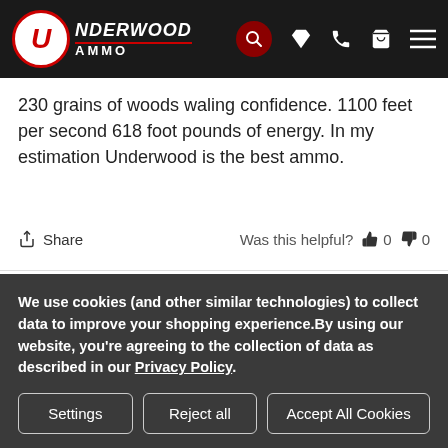Underwood Ammo
230 grains of woods waling confidence. 1100 feet per second 618 foot pounds of energy. In my estimation Underwood is the best ammo.
Share   Was this helpful?  0  0
John P.  Verified Buyer  06/17/2022  ★★★★★
We use cookies (and other similar technologies) to collect data to improve your shopping experience.By using our website, you're agreeing to the collection of data as described in our Privacy Policy.
Settings  Reject all  Accept All Cookies